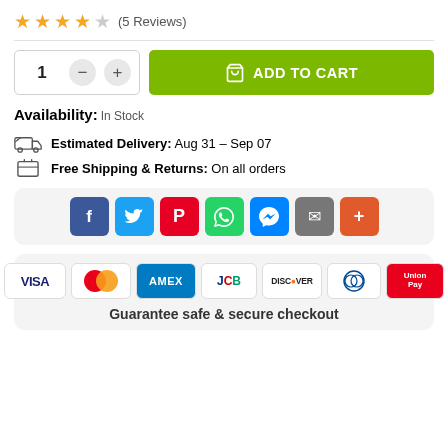★★★★☆ (5 Reviews)
[Figure (infographic): Quantity selector with minus and plus buttons showing quantity 1, and a green ADD TO CART button with shopping bag icon]
Availability: In Stock
[Figure (infographic): Delivery truck icon with text: Estimated Delivery: Aug 31 – Sep 07; Package icon with text: Free Shipping & Returns: On all orders]
[Figure (infographic): Social share buttons: Facebook (f), Twitter (bird), Pinterest (P), WhatsApp (phone), Messenger (lightning), Email (envelope), More (+)]
[Figure (infographic): Payment badges row: VISA, Mastercard, AMEX, JCB, DISCOVER, Diners Club, UnionPay. Below: Guarantee safe & secure checkout]